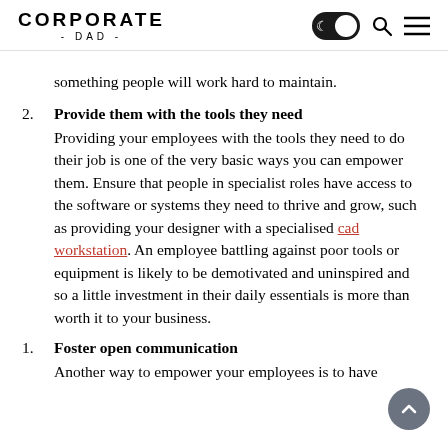CORPORATE - DAD -
something people will work hard to maintain.
2. Provide them with the tools they need
Providing your employees with the tools they need to do their job is one of the very basic ways you can empower them. Ensure that people in specialist roles have access to the software or systems they need to thrive and grow, such as providing your designer with a specialised cad workstation. An employee battling against poor tools or equipment is likely to be demotivated and uninspired and so a little investment in their daily essentials is more than worth it to your business.
1. Foster open communication
Another way to empower your employees is to have